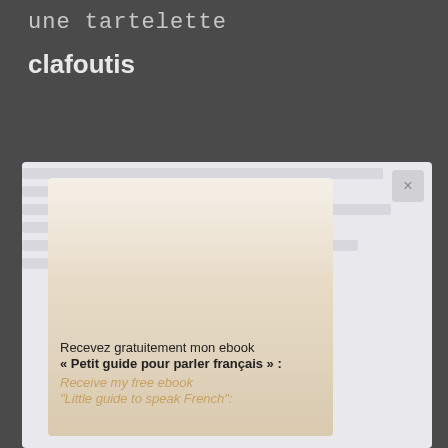une tartelette
clafoutis
[Figure (screenshot): A modal popup overlay on a webpage, showing an inner card with a gradient background (cream/beige). The modal contains text: 'Recevez gratuitement mon ebook « Petit guide pour parler français » :' in dark text, followed by italic golden/tan text 'Receive my free ebook "Little guide to speak French":'. A close button (×) appears in the top-right corner of the modal.]